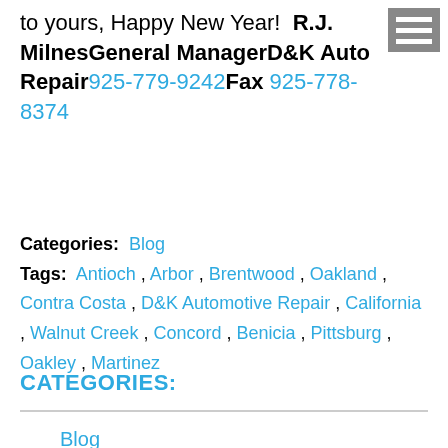to yours, Happy New Year!  R.J. MilnesGeneral ManagerD&K Auto Repair925-779-9242Fax 925-778-8374
Categories: Blog
Tags: Antioch , Arbor , Brentwood , Oakland , Contra Costa , D&K Automotive Repair , California , Walnut Creek , Concord , Benicia , Pittsburg , Oakley , Martinez
CATEGORIES:
Blog